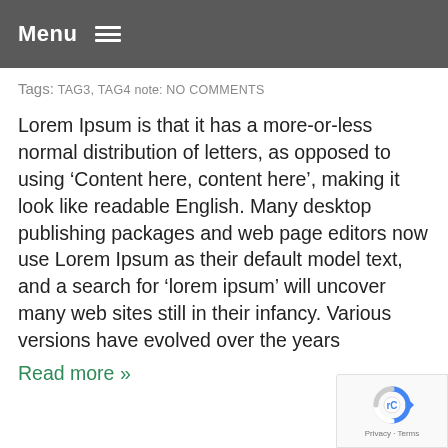Menu
Tags: TAG3, TAG4 note: NO COMMENTS
Lorem Ipsum is that it has a more-or-less normal distribution of letters, as opposed to using ‘Content here, content here’, making it look like readable English. Many desktop publishing packages and web page editors now use Lorem Ipsum as their default model text, and a search for ‘lorem ipsum’ will uncover many web sites still in their infancy. Various versions have evolved over the years
Read more »
[Figure (logo): reCAPTCHA badge with spinning arrows logo and Privacy · Terms text]